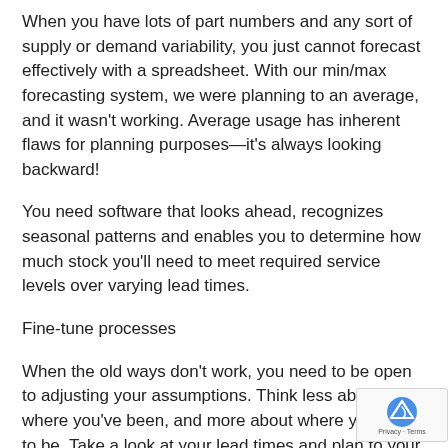When you have lots of part numbers and any sort of supply or demand variability, you just cannot forecast effectively with a spreadsheet. With our min/max forecasting system, we were planning to an average, and it wasn't working. Average usage has inherent flaws for planning purposes—it's always looking backward!
You need software that looks ahead, recognizes seasonal patterns and enables you to determine how much stock you'll need to meet required service levels over varying lead times.
Fine-tune processes
When the old ways don't work, you need to be open to adjusting your assumptions. Think less about where you've been, and more about where you want to be. Take a look at your lead times and plan to your desired service level. Last year's history may not be